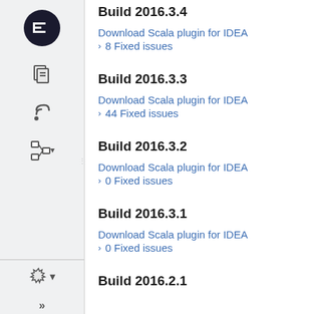Build 2016.3.4
Download Scala plugin for IDEA
8 Fixed issues
Build 2016.3.3
Download Scala plugin for IDEA
44 Fixed issues
Build 2016.3.2
Download Scala plugin for IDEA
0 Fixed issues
Build 2016.3.1
Download Scala plugin for IDEA
0 Fixed issues
Build 2016.2.1